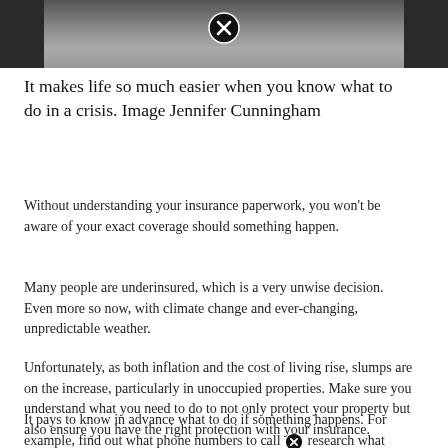[Figure (photo): Partial photo showing hands of a person, cropped at top, dark background with light-colored surfaces visible.]
It makes life so much easier when you know what to do in a crisis. Image Jennifer Cunningham
Without understanding your insurance paperwork, you won't be aware of your exact coverage should something happen.
Many people are underinsured, which is a very unwise decision. Even more so now, with climate change and ever-changing, unpredictable weather.
Unfortunately, as both inflation and the cost of living rise, slumps are on the increase, particularly in unoccupied properties. Make sure you understand what you need to do to not only protect your property but also ensure you have the right protection with your insurance.
It pays to know in advance what to do if something happens. For example, find out what phone numbers to call ⓧ research what documents and